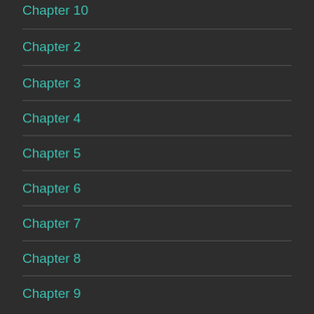Chapter 10
Chapter 2
Chapter 3
Chapter 4
Chapter 5
Chapter 6
Chapter 7
Chapter 8
Chapter 9